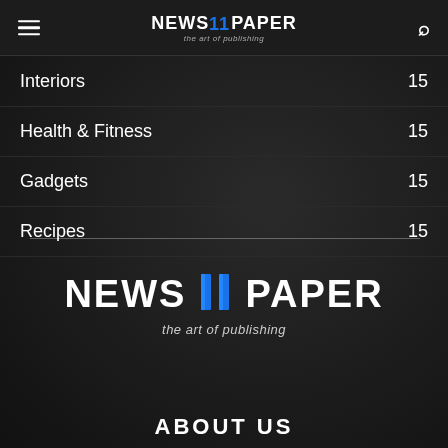NEWS 11 PAPER — the art of publishing
Interiors 15
Health & Fitness 15
Gadgets 15
Recipes 15
[Figure (logo): NEWS 11 PAPER logo with tagline 'the art of publishing' centered on dark background]
ABOUT US